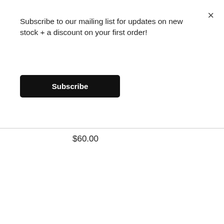Subscribe to our mailing list for updates on new stock + a discount on your first order!
Subscribe
$60.00
[Figure (photo): Album cover for Markus GUENTNER - Extropy - ASIPV032, showing abstract spherical shapes in dark teal, burgundy and blue tones on white background, with a black circular label sticker in the top right]
Markus GUENTNER - Extropy - ASIPV032 - A
Chat with us
×